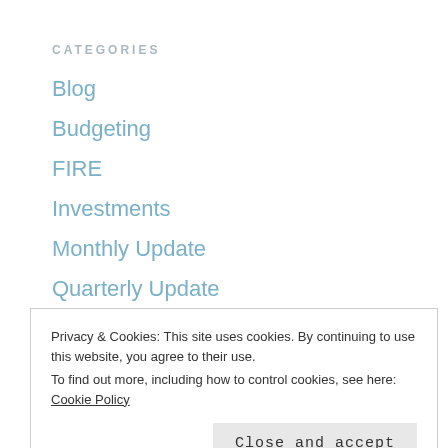CATEGORIES
Blog
Budgeting
FIRE
Investments
Monthly Update
Quarterly Update
Savings
SOCIAL LINKS
Privacy & Cookies: This site uses cookies. By continuing to use this website, you agree to their use. To find out more, including how to control cookies, see here: Cookie Policy
Close and accept